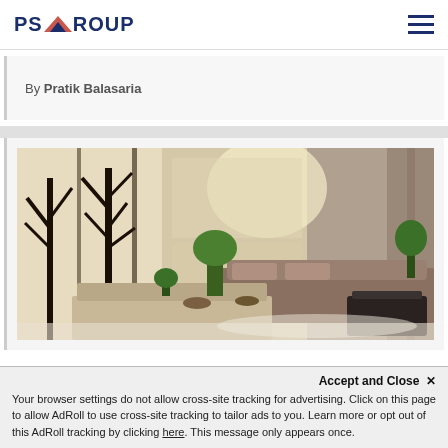PS GROUP
By Pratik Balasaria
[Figure (photo): Interior room photo showing a modern living/dining area with a marble-topped table in the foreground, leather sofa, decorative tree artwork on the left wall, potted plants, and curtains in the background.]
Accept and Close ✕
Your browser settings do not allow cross-site tracking for advertising. Click on this page to allow AdRoll to use cross-site tracking to tailor ads to you. Learn more or opt out of this AdRoll tracking by clicking here. This message only appears once.